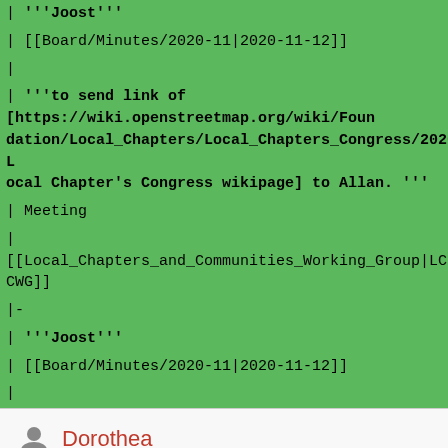| '''Joost'''
| [[Board/Minutes/2020-11|2020-11-12]]
|
| '''to send link of [https://wiki.openstreetmap.org/wiki/Foundation/Local_Chapters/Local_Chapters_Congress/2020 Local Chapter's Congress wikipage] to Allan. '''
| Meeting
| [[Local_Chapters_and_Communities_Working_Group|LCCWG]]
|-
| '''Joost'''
| [[Board/Minutes/2020-11|2020-11-12]]
|
Dorothea
BUREAUCRATS, ADMINISTRATORS
3,599
EDITS